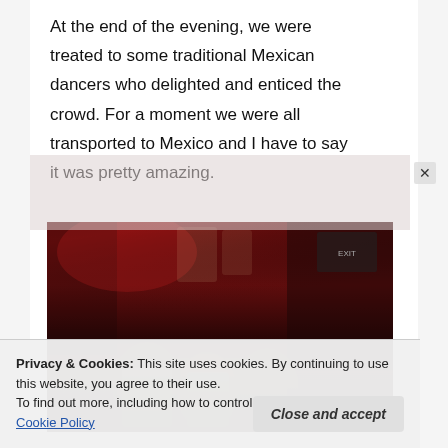At the end of the evening, we were treated to some traditional Mexican dancers who delighted and enticed the crowd. For a moment we were all transported to Mexico and I have to say it was pretty amazing.
[Figure (photo): Dark red interior scene showing people dancing in traditional Mexican costumes in a dimly lit venue with red walls]
Privacy & Cookies: This site uses cookies. By continuing to use this website, you agree to their use.
To find out more, including how to control cookies, see here:
Cookie Policy
Close and accept